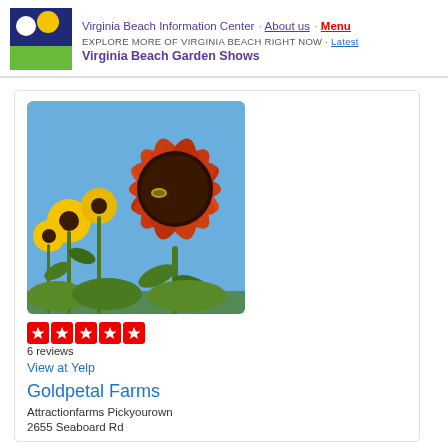Virginia Beach Information Center · About us · Menu
EXPLORE MORE OF VIRGINIA BEACH RIGHT NOW · Latest
Virginia Beach Garden Shows
[Figure (photo): Close-up photo of a red/orange sunflower with yellow sunflowers in the background against a blue sky]
6 reviews
View at Yelp
Goldpetal Farms
Attractionfarms Pickyourown
2655 Seaboard Rd